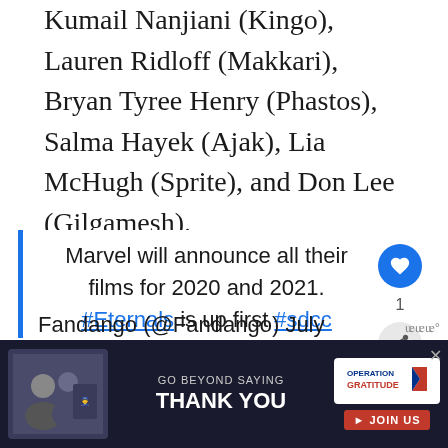Kumail Nanjiani (Kingo), Lauren Ridloff (Makkari), Bryan Tyree Henry (Phastos), Salma Hayek (Ajak), Lia McHugh (Sprite), and Don Lee (Gilgamesh).
Marvel will announce all their films for 2020 and 2021. #Eternals is up first #sdcc pic.twitter.com/pPBtsNdxTe
Fandango (@Fandango) July
[Figure (screenshot): Advertisement banner: GO BEYOND SAYING THANK YOU — Operation Gratitude JOIN US, with photo of people in military/civilian clothing shaking hands]